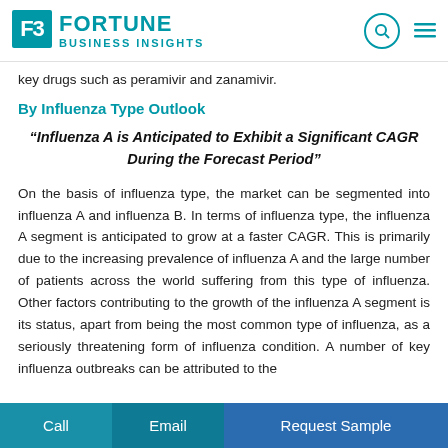Fortune Business Insights
key drugs such as peramivir and zanamivir.
By Influenza Type Outlook
“Influenza A is Anticipated to Exhibit a Significant CAGR During the Forecast Period”
On the basis of influenza type, the market can be segmented into influenza A and influenza B. In terms of influenza type, the influenza A segment is anticipated to grow at a faster CAGR. This is primarily due to the increasing prevalence of influenza A and the large number of patients across the world suffering from this type of influenza. Other factors contributing to the growth of the influenza A segment is its status, apart from being the most common type of influenza, as a seriously threatening form of influenza condition. A number of key influenza outbreaks can be attributed to the influenza form of the disease.
Call   Email   Request Sample